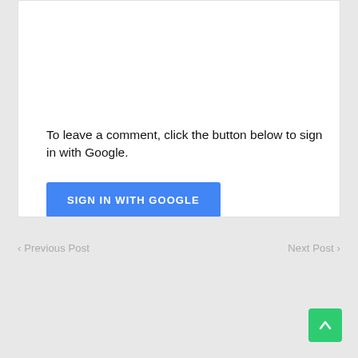To leave a comment, click the button below to sign in with Google.
[Figure (screenshot): Blue 'SIGN IN WITH GOOGLE' button]
< Previous Post    Next Post >